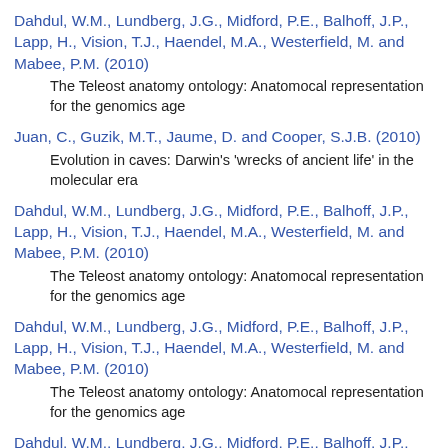Dahdul, W.M., Lundberg, J.G., Midford, P.E., Balhoff, J.P., Lapp, H., Vision, T.J., Haendel, M.A., Westerfield, M. and Mabee, P.M. (2010)
The Teleost anatomy ontology: Anatomocal representation for the genomics age
Juan, C., Guzik, M.T., Jaume, D. and Cooper, S.J.B. (2010)
Evolution in caves: Darwin's 'wrecks of ancient life' in the molecular era
Dahdul, W.M., Lundberg, J.G., Midford, P.E., Balhoff, J.P., Lapp, H., Vision, T.J., Haendel, M.A., Westerfield, M. and Mabee, P.M. (2010)
The Teleost anatomy ontology: Anatomocal representation for the genomics age
Dahdul, W.M., Lundberg, J.G., Midford, P.E., Balhoff, J.P., Lapp, H., Vision, T.J., Haendel, M.A., Westerfield, M. and Mabee, P.M. (2010)
The Teleost anatomy ontology: Anatomocal representation for the genomics age
Dahdul, W.M., Lundberg, J.G., Midford, P.E., Balhoff, J.P., Lapp, H., Vision, T.J., Haendel, M.A., Westerfield, M. and Mabee, P.M. (2010)